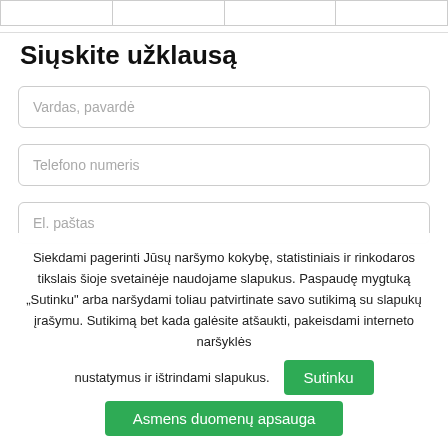|  |  |  |  |
| --- | --- | --- | --- |
|  |  |  |  |
Siųskite užklausą
Vardas, pavardė
Telefono numeris
El. paštas
Siekdami pagerinti Jūsų naršymo kokybę, statistiniais ir rinkodaros tikslais šioje svetainėje naudojame slapukus. Paspaudę mygtuką „Sutinku" arba naršydami toliau patvirtinate savo sutikimą su slapukų įrašymu. Sutikimą bet kada galėsite atšaukti, pakeisdami interneto naršyklės nustatymus ir ištrindami slapukus.
Sutinku
Asmens duomenų apsauga